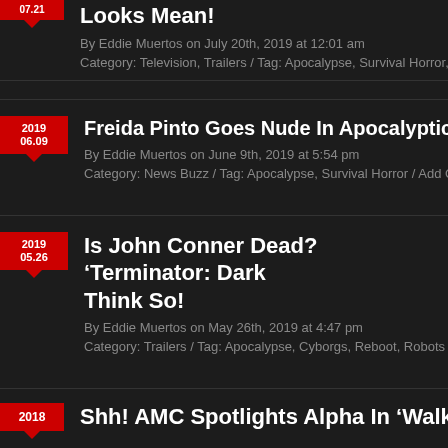Looks Mean!
By Eddie Muertos on July 20th, 2019 at 12:01 am
Category: Television, Trailers / Tag: Apocalypse, Survival Horror, Zombies
Freida Pinto Goes Nude In Apocalyptic T...
By Eddie Muertos on June 9th, 2019 at 5:54 pm
Category: News Buzz / Tag: Apocalypse, Survival Horror / Add Comment
Is John Conner Dead? ‘Terminator: Dark... Think So!
By Eddie Muertos on May 26th, 2019 at 4:47 pm
Category: Trailers / Tag: Apocalypse, Cyborgs, Reboot, Robots / Add Co...
Shh! AMC Spotlights Alpha In 'Walking D...